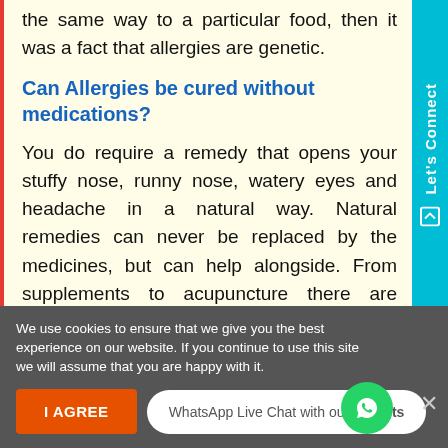the same way to a particular food, then it was a fact that allergies are genetic.
Can Allergies be cured without medications?
You do require a remedy that opens your stuffy nose, runny nose, watery eyes and headache in a natural way. Natural remedies can never be replaced by the medicines, but can help alongside. From supplements to acupuncture there are things that help you in breathing easily. You can't stop pollen from spreading its wings, but you are able to control it. Keep all the doors and windows closed when you know that pollen is in the air. Turn
We use cookies to ensure that we give you the best experience on our website. If you continue to use this site we will assume that you are happy with it.